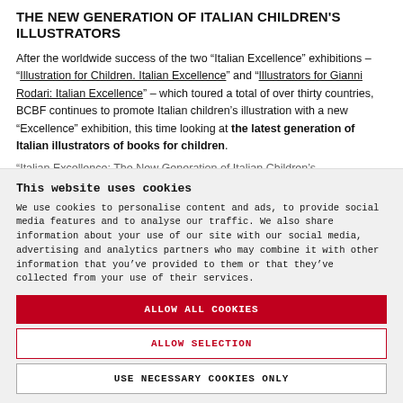THE NEW GENERATION OF ITALIAN CHILDREN'S ILLUSTRATORS
After the worldwide success of the two “Italian Excellence” exhibitions – “Illustration for Children. Italian Excellence” and “Illustrators for Gianni Rodari: Italian Excellence” – which toured a total of over thirty countries, BCBF continues to promote Italian children’s illustration with a new “Excellence” exhibition, this time looking at the latest generation of Italian illustrators of books for children.
“Italian Excellence: The New Generation of Italian Children’s…
This website uses cookies
We use cookies to personalise content and ads, to provide social media features and to analyse our traffic. We also share information about your use of our site with our social media, advertising and analytics partners who may combine it with other information that you’ve provided to them or that they’ve collected from your use of their services.
ALLOW ALL COOKIES
ALLOW SELECTION
USE NECESSARY COOKIES ONLY